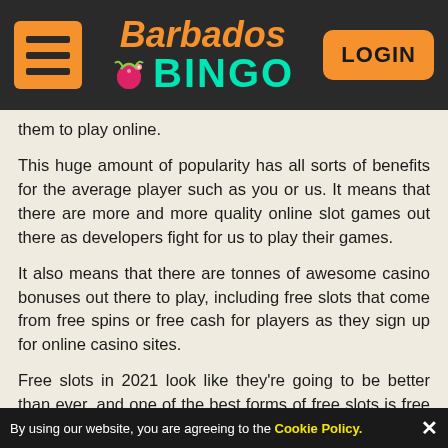Barbados Bingo — LOGIN
them to play online.
This huge amount of popularity has all sorts of benefits for the average player such as you or us. It means that there are more and more quality online slot games out there as developers fight for us to play their games.
It also means that there are tonnes of awesome casino bonuses out there to play, including free slots that come from free spins or free cash for players as they sign up for online casino sites.
Free slots in 2021 look like they’re going to be better than ever, and one of the best forms of free slots is free slots no deposit. 2021 is likely to see a whole tonne of $10 free slots no deposit offers, so allow us to get right ahead of that and find out how to make the most of them as you play your favourite online slot
By using our website, you are agreeing to the Cookie Policy.